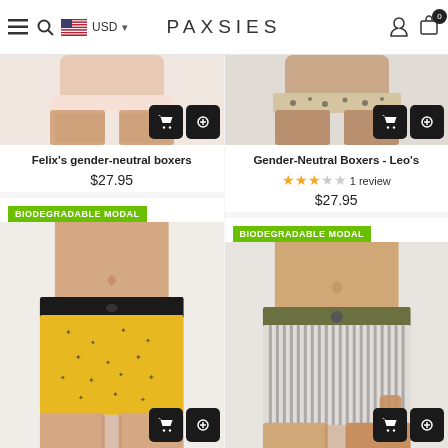PAXSIES — USD navigation header
[Figure (photo): Partial view of model wearing gender-neutral boxers, peach/cream background, top portion cropped]
[Figure (photo): Partial view of model wearing Gender-Neutral Boxers Leo's, leopard print waistband, tan legs visible]
Felix's gender-neutral boxers
$27.95
Gender-Neutral Boxers - Leo's
★★★☆☆ 1 review
$27.95
BIODEGRADABLE MODAL
BIODEGRADABLE MODAL
[Figure (photo): Model wearing yellow boxer briefs with small bee/star pattern and black waistband]
[Figure (photo): Model wearing black and white vertical stripe boxer briefs with olive/green waistband, hand in pocket]